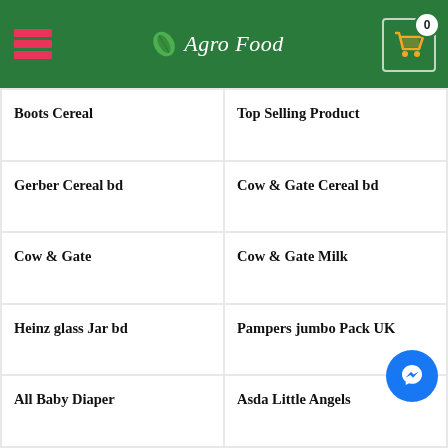Agro Food
Boots Cereal
Top Selling Product
Gerber Cereal bd
Cow & Gate Cereal bd
Cow & Gate
Cow & Gate Milk
Heinz glass Jar bd
Pampers jumbo Pack UK
All Baby Diaper
Asda Little Angels